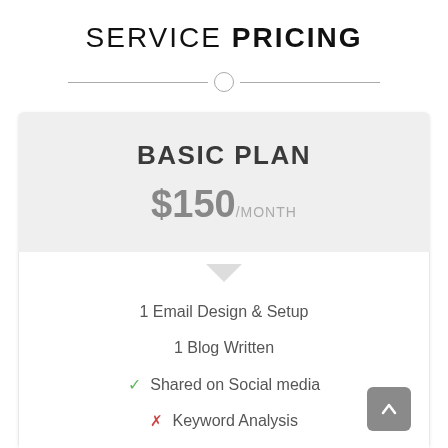SERVICE PRICING
[Figure (other): Horizontal divider line with a circle in the center]
BASIC PLAN
$150/MONTH
1 Email Design & Setup
1 Blog Written
✓ Shared on Social media
✗ Keyword Analysis